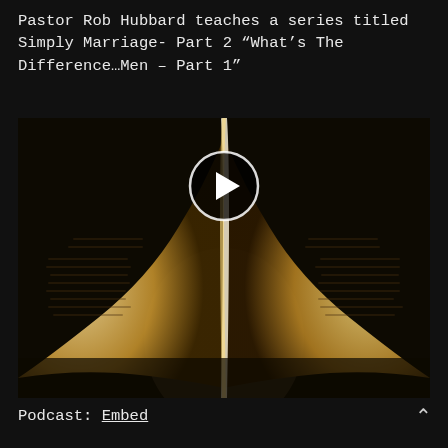Pastor Rob Hubbard teaches a series titled Simply Marriage- Part 2 “What’s The Difference…Men – Part 1”
[Figure (photo): An open book photographed from above, pages fanned open into a heart-like shape with warm golden-brown lighting. A circular play button overlay is visible at the top center of the image.]
Podcast: Embed